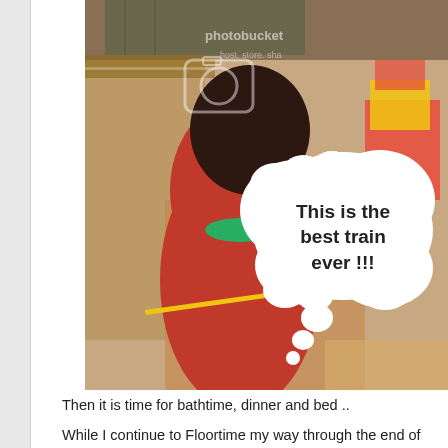[Figure (photo): A child playing with a train set on the floor, viewed from above. The child wears a red/pink top with a green collar accent. There is a colorful toy train set visible. A large thought bubble overlays the image with the text 'This is the best train ever !!!' A Photobucket watermark and camera icon are visible in the upper portion of the image.]
Then it is time for bathtime, dinner and bed ..
While I continue to Floortime my way through the end of the da